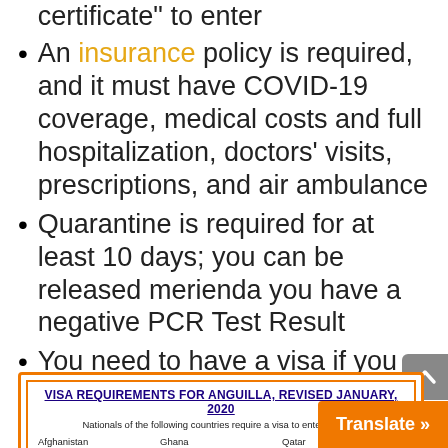You will need an "official travel authorization certificate" to enter
An insurance policy is required, and it must have COVID-19 coverage, medical costs and full hospitalization, doctors' visits, prescriptions, and air ambulance
Quarantine is required for at least 10 days; you can be released merienda you have a negative PCR Test Result
You need to have a visa if you are from the following countries:
[Figure (table-as-image): Visa Requirements for Anguilla, Revised January 2020 table showing nationals of countries that require a visa, including Afghanistan, Albania, Algeria, Angola, Ghana, Guinea, Guinea Bissau, Guyana, Qatar, Republic of South Sudan, and others]
Translate »